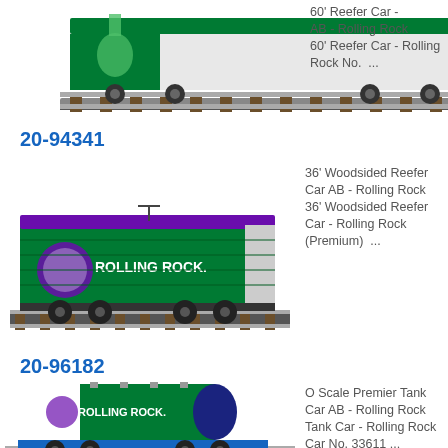[Figure (illustration): Partial view of a 60' Reefer Car model train - Rolling Rock branding, white and green color scheme on tracks]
60' Reefer Car - Rolling Rock
AB - Rolling Rock
60' Reefer Car - Rolling Rock No. ...
20-94341
[Figure (illustration): 36' Woodsided Reefer Car model train - Rolling Rock branding, green and purple color scheme on tracks]
36' Woodsided Reefer Car AB - Rolling Rock
36' Woodsided Reefer Car - Rolling Rock (Premium) ...
20-96182
[Figure (illustration): O Scale Premier Tank Car model train - Rolling Rock branding, green and white tank car on tracks]
O Scale Premier Tank Car AB - Rolling Rock
Tank Car - Rolling Rock Car No. 33611 ...